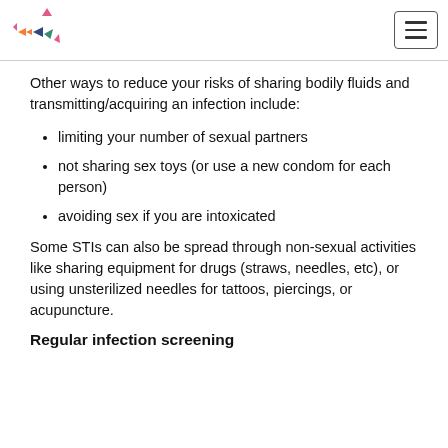[Logo] [Menu button]
Other ways to reduce your risks of sharing bodily fluids and transmitting/acquiring an infection include:
limiting your number of sexual partners
not sharing sex toys (or use a new condom for each person)
avoiding sex if you are intoxicated
Some STIs can also be spread through non-sexual activities like sharing equipment for drugs (straws, needles, etc), or using unsterilized needles for tattoos, piercings, or acupuncture.
Regular infection screening